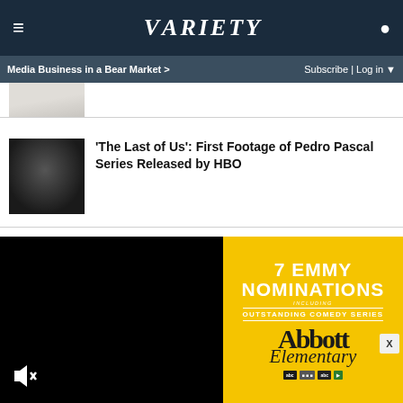VARIETY
Media Business in a Bear Market >
Subscribe | Log in
[Figure (photo): Partial thumbnail of an article image, cropped at top]
[Figure (photo): Dark thumbnail image of a man, Pedro Pascal from The Last of Us HBO series]
'The Last of Us': First Footage of Pedro Pascal Series Released by HBO
[Figure (photo): Black and white portrait photo of Virginia Patton Moss]
Virginia Patton Moss, Last Surviving Adult Cast Member of 'It's a Wonderful Life,' Dies at 97
[Figure (photo): Black video player area with speaker/mute icon]
[Figure (advertisement): Abbott Elementary Emmy nominations advertisement on yellow background: 7 EMMY NOMINATIONS INCLUDING OUTSTANDING COMEDY SERIES, Abbott Elementary, with network logos]